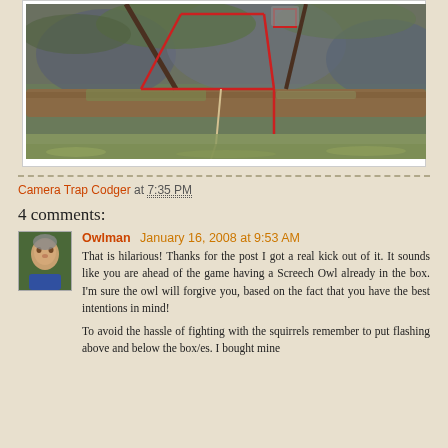[Figure (photo): Outdoor photograph showing tree branches and rocks with red geometric lines/markers overlaid on the image, and a rope visible hanging down.]
Camera Trap Codger at 7:35 PM
4 comments:
Owlman  January 16, 2008 at 9:53 AM

That is hilarious! Thanks for the post I got a real kick out of it. It sounds like you are ahead of the game having a Screech Owl already in the box. I'm sure the owl will forgive you, based on the fact that you have the best intentions in mind!

To avoid the hassle of fighting with the squirrels remember to put flashing above and below the box/es. I bought mine